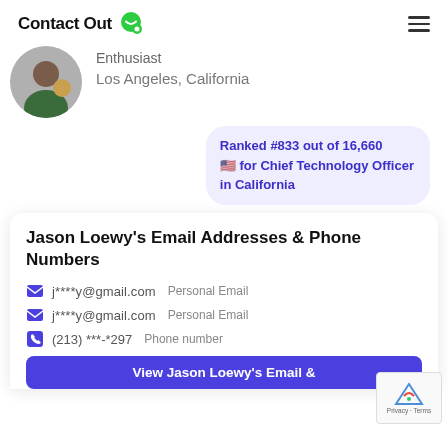ContactOut
Enthusiast
Los Angeles, California
Ranked #833 out of 16,660 🇺🇸 for Chief Technology Officer in California
Jason Loewy's Email Addresses & Phone Numbers
j****y@gmail.com   Personal Email
j****y@gmail.com   Personal Email
(213) ***-*297   Phone number
View Jason Loewy's Email &